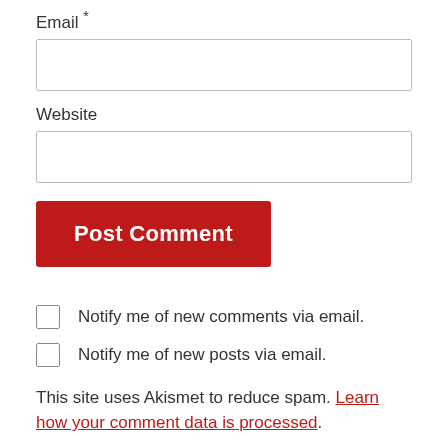Email *
[Figure (other): Empty email input text box]
Website
[Figure (other): Empty website input text box]
[Figure (other): Red 'Post Comment' button]
Notify me of new comments via email.
Notify me of new posts via email.
This site uses Akismet to reduce spam. Learn how your comment data is processed.
REALLY AWFUL MOVIES PODCAST
[Figure (illustration): Partial illustration/logo at bottom of page]